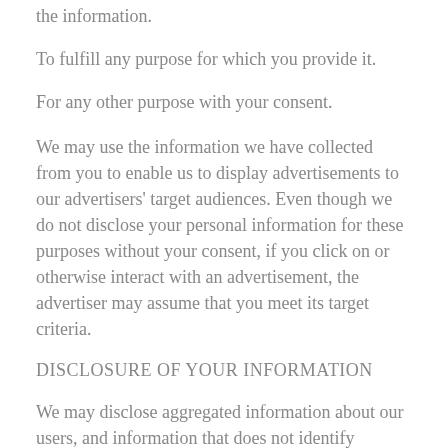the information.
To fulfill any purpose for which you provide it.
For any other purpose with your consent.
We may use the information we have collected from you to enable us to display advertisements to our advertisers' target audiences. Even though we do not disclose your personal information for these purposes without your consent, if you click on or otherwise interact with an advertisement, the advertiser may assume that you meet its target criteria.
DISCLOSURE OF YOUR INFORMATION
We may disclose aggregated information about our users, and information that does not identify